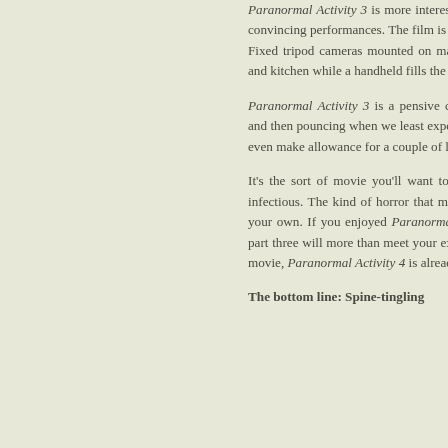Paranormal Activity 3 is more interested in authentic reality cinematography, despite the natural, convincing performances. The film is more focused on happenings, atmosphere and the right tone. Fixed tripod cameras mounted on makeshift fan camera pans the living space, the dining room and kitchen while a handheld fills the scenes.
Paranormal Activity 3 is a pensive cat-and-mouse, stringing the viewer along, mounting dread and then pouncing when we least expect it. Joost and Ariel Schulman know how to build tension, even make allowance for a couple of laughs to relieve and unsettle us.
It's the sort of movie you'll want to cover your eyes at sort of fright fest where screams are infectious. The kind of horror that makes you think twice about being in an empty house all on your own. If you enjoyed Paranormal Activity and were less taken with Paranormal Activity 2, part three will more than meet your expectations. Based on the overwhelming success of the third movie, Paranormal Activity 4 is already being primed for 2014.
The bottom line: Spine-tingling